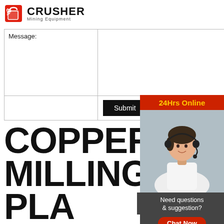[Figure (logo): Crusher Mining Equipment logo with red shopping bag icon and bold CRUSHER text]
|  |  |
| --- | --- |
| Message: |  |
|  | Submit |
COPPER MILLING PLANT IN ZAMBIA
[Figure (infographic): 24Hrs Online side panel with customer service representative photo, Need questions & suggestion? Chat Now button, Enquiry section, and limingjlmofen@sina.com email]
Need questions & suggestion?
Chat Now
Enquiry
limingjlmofen@sina.com